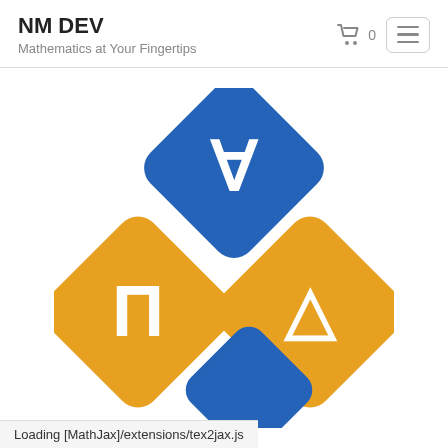NM DEV
Mathematics at Your Fingertips
[Figure (logo): NM DEV logo: three overlapping rounded diamond shapes — a blue one on top with a white upside-down A (for-all symbol), a gold/yellow one on the bottom-left with a white Pi symbol, and a gold/yellow one on the bottom-right with a white Delta triangle symbol. A fourth smaller blue shape is partially visible at the bottom center.]
Loading [MathJax]/extensions/tex2jax.js